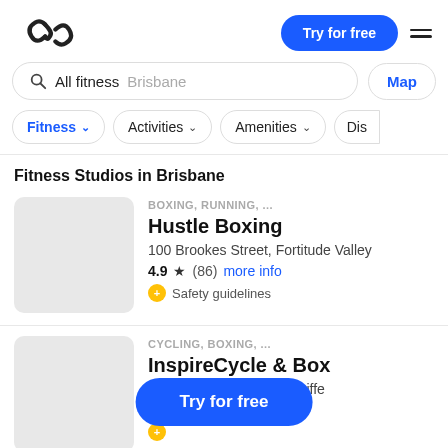ClassPass logo | Try for free | menu
All fitness  Brisbane  Map
Fitness  Activities  Amenities  Dis...
Fitness Studios in Brisbane
BOXING, RUNNING, ...
Hustle Boxing
100 Brookes Street, Fortitude Valley
4.9 ★ (86)  more info
Safety guidelines
CYCLING, BOXING, ...
InspireCycle & Box
76 Commercial Rd, Teneriffe
4.9  more info
Safety guidelines
Try for free